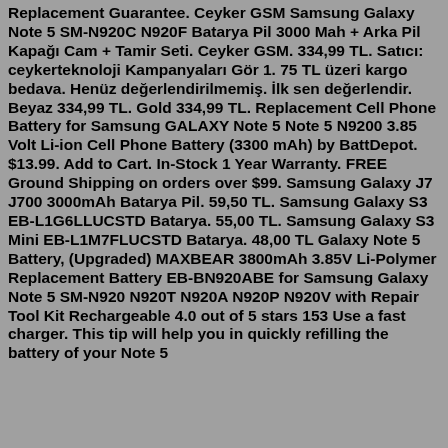Replacement Guarantee. Ceyker GSM Samsung Galaxy Note 5 SM-N920C N920F Batarya Pil 3000 Mah + Arka Pil Kapağı Cam + Tamir Seti. Ceyker GSM. 334,99 TL. Satıcı: ceykerteknoloji Kampanyaları Gör 1. 75 TL üzeri kargo bedava. Henüz değerlendirilmemiş. İlk sen değelendir. Beyaz 334,99 TL. Gold 334,99 TL. Replacement Cell Phone Battery for Samsung GALAXY Note 5 Note 5 N9200 3.85 Volt Li-ion Cell Phone Battery (3300 mAh) by BattDepot. $13.99. Add to Cart. In-Stock 1 Year Warranty. FREE Ground Shipping on orders over $99. Samsung Galaxy J7 J700 3000mAh Batarya Pil. 59,50 TL. Samsung Galaxy S3 EB-L1G6LLUCSTD Batarya. 55,00 TL. Samsung Galaxy S3 Mini EB-L1M7FLUCSTD Batarya. 48,00 TL Galaxy Note 5 Battery, (Upgraded) MAXBEAR 3800mAh 3.85V Li-Polymer Replacement Battery EB-BN920ABE for Samsung Galaxy Note 5 SM-N920 N920T N920A N920P N920V with Repair Tool Kit Rechargeable 4.0 out of 5 stars 153 Use a fast charger. This tip will help you in quickly refilling the battery of your Note 5